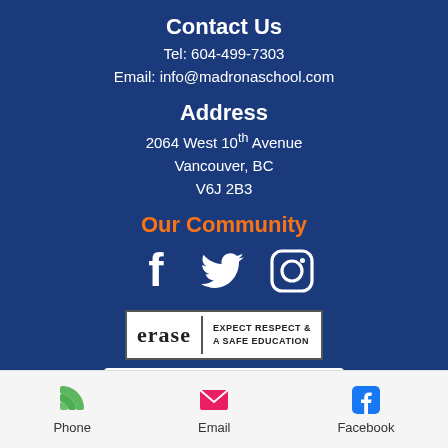Contact Us
Tel: 604-499-7303
Email: info@madronaschool.com
Address
2064 West 10th Avenue
Vancouver, BC
V6J 2B3
Our Community
[Figure (infographic): Social media icons: Facebook, Twitter, Instagram in white on dark blue background]
[Figure (logo): ERASE logo - Expect Respect & A Safe Education]
[Figure (logo): FISABC - Federation of Independent School Associations British Columbia logo]
Phone   Email   Facebook